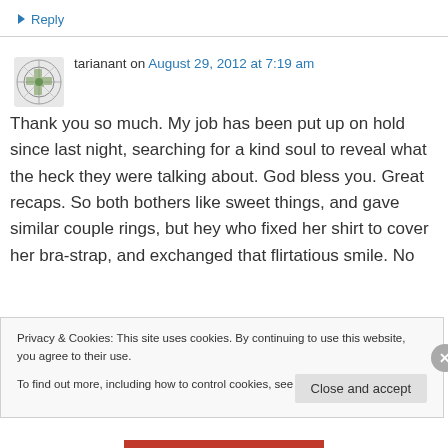↳ Reply
tarianant on August 29, 2012 at 7:19 am
Thank you so much. My job has been put up on hold since last night, searching for a kind soul to reveal what the heck they were talking about. God bless you. Great recaps. So both bothers like sweet things, and gave similar couple rings, but hey who fixed her shirt to cover her bra-strap, and exchanged that flirtatious smile. No
Privacy & Cookies: This site uses cookies. By continuing to use this website, you agree to their use.
To find out more, including how to control cookies, see here: Cookie Policy
Close and accept